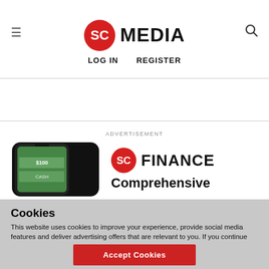SC MEDIA | LOG IN  REGISTER
ADVERTISEMENT
[Figure (logo): SC Finance advertisement banner with phone showing cash and SC Finance logo with text 'Comprehensive']
Cookies
This website uses cookies to improve your experience, provide social media features and deliver advertising offers that are relevant to you. If you continue without changing your settings, you consent to our use of cookies in accordance with our privacy policy. You may disable cookies.
Accept Cookies